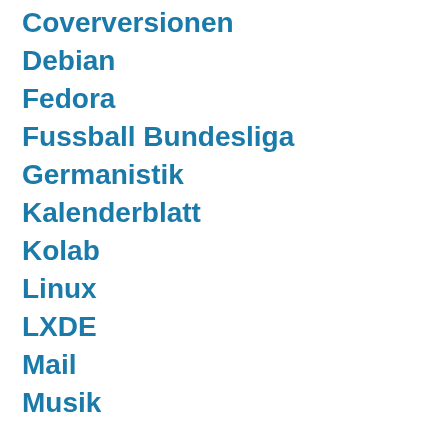Coverversionen
Debian
Fedora
Fussball Bundesliga
Germanistik
Kalenderblatt
Kolab
Linux
LXDE
Mail
Musik